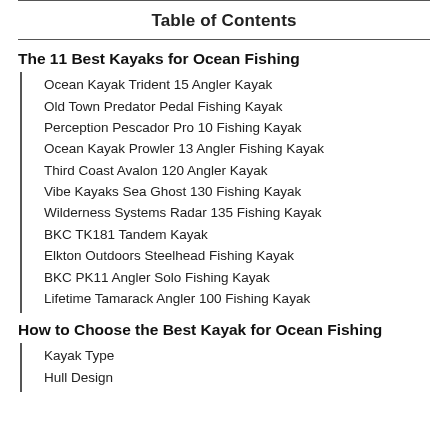Table of Contents
The 11 Best Kayaks for Ocean Fishing
Ocean Kayak Trident 15 Angler Kayak
Old Town Predator Pedal Fishing Kayak
Perception Pescador Pro 10 Fishing Kayak
Ocean Kayak Prowler 13 Angler Fishing Kayak
Third Coast Avalon 120 Angler Kayak
Vibe Kayaks Sea Ghost 130 Fishing Kayak
Wilderness Systems Radar 135 Fishing Kayak
BKC TK181 Tandem Kayak
Elkton Outdoors Steelhead Fishing Kayak
BKC PK11 Angler Solo Fishing Kayak
Lifetime Tamarack Angler 100 Fishing Kayak
How to Choose the Best Kayak for Ocean Fishing
Kayak Type
Hull Design